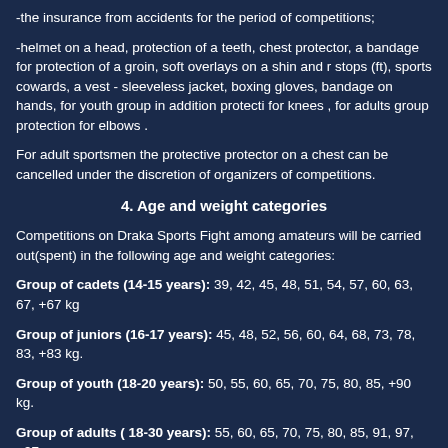-the insurance from accidents for the period of competitions;
-helmet on a head, protection of a teeth, chest protector, a bandage for protection of a groin, soft overlays on a shin and stops (ft), sports cowards, a vest - sleeveless jacket, boxing gloves, bandage on hands, for youth group in addition protection for knees , for adults group protection for elbows .
For adult sportsmen the protective protector on a chest can be cancelled under the discretion of organizers of competitions.
4. Age and weight categories
Competitions on Draka Sports Fight among amateurs will be carried out(spent) in the following age and weight categories:
Group of cadets (14-15 years): 39, 42, 45, 48, 51, 54, 57, 60, 63, 67, +67 kg
Group of juniors (16-17 years): 45, 48, 52, 56, 60, 64, 68, 73, 78, 83, +83 kg.
Group of youth (18-20 years): 50, 55, 60, 65, 70, 75, 80, 85, +90 kg.
Group of adults ( 18-30 years): 55, 60, 65, 70, 75, 80, 85, 91, 97, +97.
The age category of the sportsman is defined(determined) in regulations about each concrete competition on one year of birth of the participant.